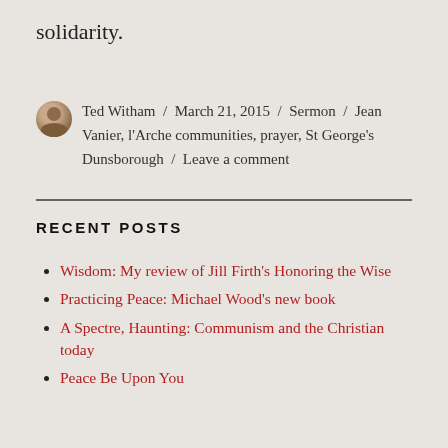solidarity.
Ted Witham / March 21, 2015 / Sermon / Jean Vanier, l'Arche communities, prayer, St George's Dunsborough / Leave a comment
RECENT POSTS
Wisdom: My review of Jill Firth's Honoring the Wise
Practicing Peace: Michael Wood's new book
A Spectre, Haunting: Communism and the Christian today
Peace Be Upon You